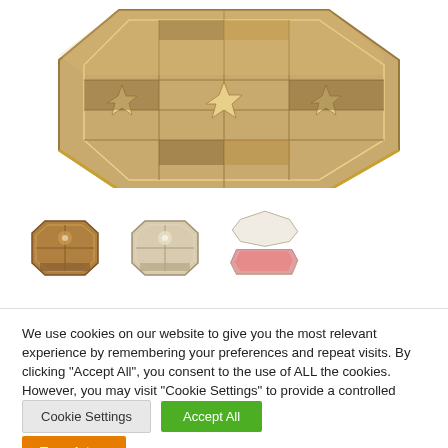[Figure (photo): Top portion of an octagonal decorative inlaid wooden box with geometric marquetry patterns including star/flower motifs, viewed from slightly above]
[Figure (photo): Three small octagonal decorative boxes: one closed dark/amber colored, one closed white/crystal, and one open showing pink interior lining]
We use cookies on our website to give you the most relevant experience by remembering your preferences and repeat visits. By clicking "Accept All", you consent to the use of ALL the cookies. However, you may visit "Cookie Settings" to provide a controlled consent.
Cookie Settings
Accept All
Translate »